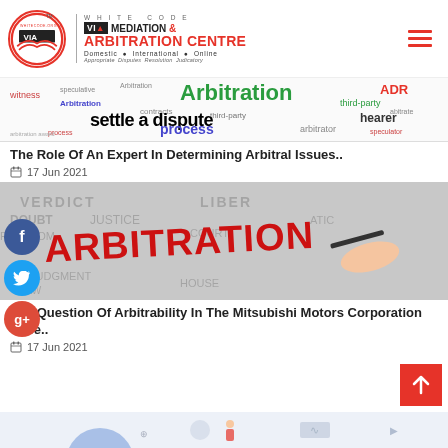[Figure (logo): White Code VIA Mediation & Arbitration Centre logo with circular emblem and tagline 'Domestic · International · Online – Appropriate Disputes Resolution Judicatory']
[Figure (photo): Word cloud image featuring arbitration-related terms: Arbitration, witness, ADR, settle a dispute, process, contracts, third-party, hearer, arbitrator]
The Role Of An Expert In Determining Arbitral Issues..
17 Jun 2021
[Figure (photo): Image showing the word ARBITRATION in red large letters on a background of legal terms, with a hand holding a pen]
The Question Of Arbitrability In The Mitsubishi Motors Corporation Case..
17 Jun 2021
[Figure (illustration): Partial view of an ADR-related illustration at the bottom of the page with blue graphic elements]